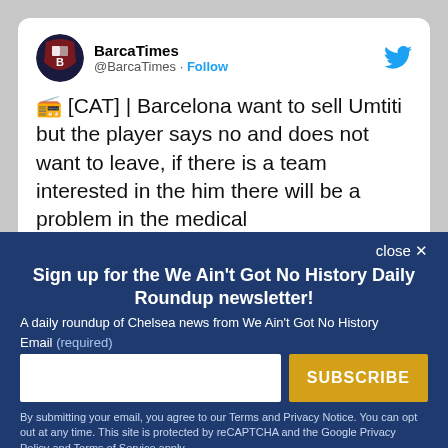[Figure (screenshot): Twitter/X profile picture for BarcaTimes account — circular logo with B and shield design in dark red and blue]
BarcaTimes
@BarcaTimes · Follow
🗜 [CAT] | Barcelona want to sell Umtiti but the player says no and does not want to leave, if there is a team interested in the him there will be a problem in the medical
close ✕
Sign up for the We Ain't Got No History Daily Roundup newsletter!
A daily roundup of Chelsea news from We Ain't Got No History
Email (required)
SUBSCRIBE
By submitting your email, you agree to our Terms and Privacy Notice. You can opt out at any time. This site is protected by reCAPTCHA and the Google Privacy Policy and Terms of Service apply.